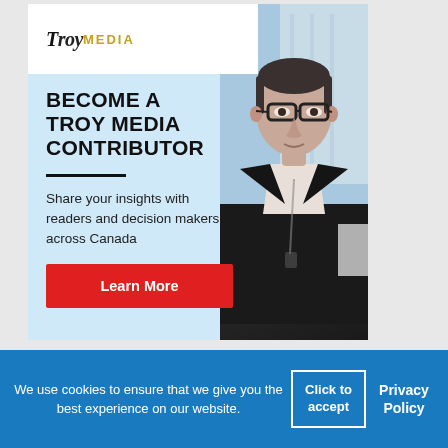[Figure (infographic): Troy Media advertisement banner featuring logo at top left, headline 'Become a Troy Media Contributor', subtext 'Share your insights with readers and decision makers across Canada', a red Learn More button, and a photo of a man with glasses in a dark suit on the right side.]
EXTRA EXTRA
We use cookies to ensure that we give you the best experience on our website.
Click to accept
Privacy Policy